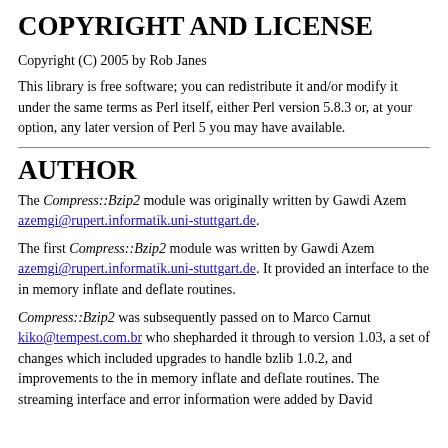COPYRIGHT AND LICENSE
Copyright (C) 2005 by Rob Janes
This library is free software; you can redistribute it and/or modify it under the same terms as Perl itself, either Perl version 5.8.3 or, at your option, any later version of Perl 5 you may have available.
AUTHOR
The Compress::Bzip2 module was originally written by Gawdi Azem azemgi@rupert.informatik.uni-stuttgart.de.
The first Compress::Bzip2 module was written by Gawdi Azem azemgi@rupert.informatik.uni-stuttgart.de. It provided an interface to the in memory inflate and deflate routines.
Compress::Bzip2 was subsequently passed on to Marco Carnut kiko@tempest.com.br who shepharded it through to version 1.03, a set of changes which included upgrades to handle bzlib 1.0.2, and improvements to the in memory inflate and deflate routines. The streaming interface and error information were added by David